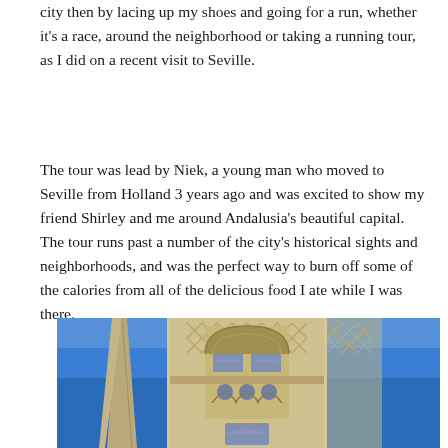city then by lacing up my shoes and going for a run, whether it's a race, around the neighborhood or taking a running tour, as I did on a recent visit to Seville.
The tour was lead by Niek, a young man who moved to Seville from Holland 3 years ago and was excited to show my friend Shirley and me around Andalusia's beautiful capital. The tour runs past a number of the city's historical sights and neighborhoods, and was the perfect way to burn off some of the calories from all of the delicious food I ate while I was there.
[Figure (photo): Photo of a historic Moorish-style tower in Seville (likely the Giralda or similar architecture), with ornate geometric lattice decorations and arched windows, against a deep blue sky. A Gothic spire is visible on the left.]